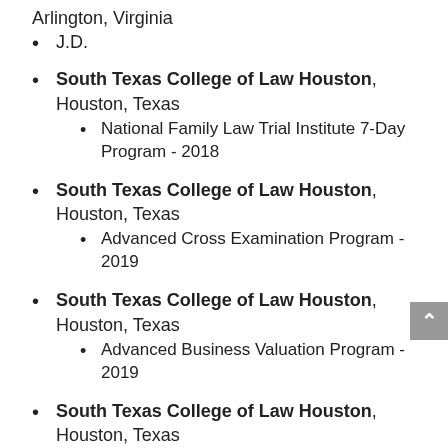Arlington, Virginia
J.D.
South Texas College of Law Houston, Houston, Texas
• National Family Law Trial Institute 7-Day Program - 2018
South Texas College of Law Houston, Houston, Texas
• Advanced Cross Examination Program - 2019
South Texas College of Law Houston, Houston, Texas
• Advanced Business Valuation Program - 2019
South Texas College of Law Houston, Houston, Texas